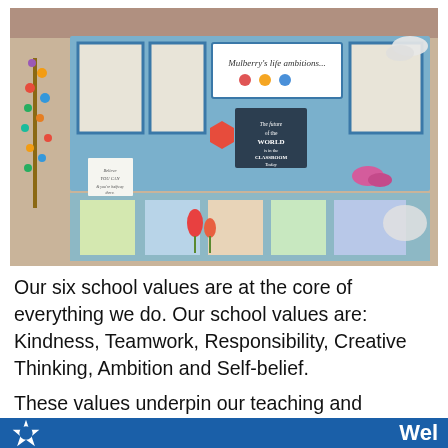[Figure (photo): Classroom display board showing school values theme. Blue display panels with children's artwork, colorful decorative shapes (hexagons, butterflies), a sign reading 'Mulberry's life ambitions...', a chalkboard sign reading 'The future of the WORLD is in the CLASSROOM Today', a motivational sign reading 'Believe YOU CAN & you're halfway there', flower/nature artwork, and a decorative tree with paper cutouts on the left.]
Our six school values are at the core of everything we do. Our school values are: Kindness, Teamwork, Responsibility, Creative Thinking, Ambition and Self-belief.
These values underpin our teaching and learning and
Wel